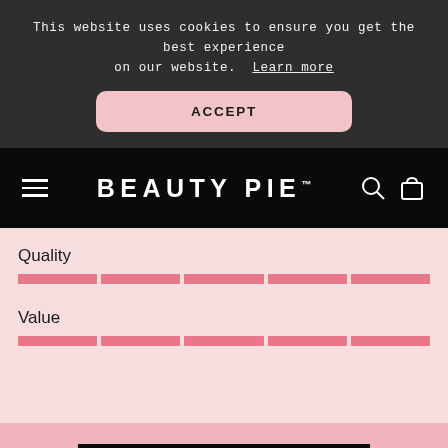This website uses cookies to ensure you get the best experience on our website. Learn more
ACCEPT
[Figure (screenshot): Beauty Pie navigation bar with hamburger menu, logo, search and bag icons]
Quality
[Figure (other): Quality rating bar showing 5 filled pink segments]
Value
[Figure (other): Value rating bar showing 5 filled pink segments]
JOIN NOW